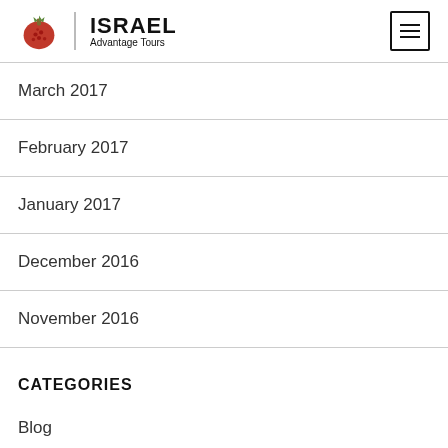Israel Advantage Tours
March 2017
February 2017
January 2017
December 2016
November 2016
CATEGORIES
Blog